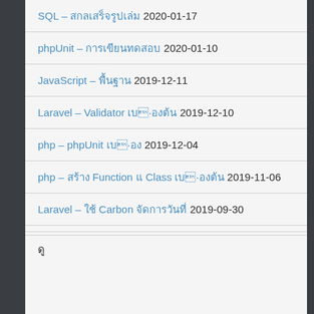SQL – ??????????????? 2020-01-17
phpUnit – ???????????????? 2020-01-10
JavaScript – ???????? 2019-12-11
Laravel – Validator ????????? 2019-12-10
php – phpUnit ???? 2019-12-04
php – ??????? Function ? Class ???????? 2019-11-06
Laravel – ?? Carbon ?????????? 2019-09-30
??